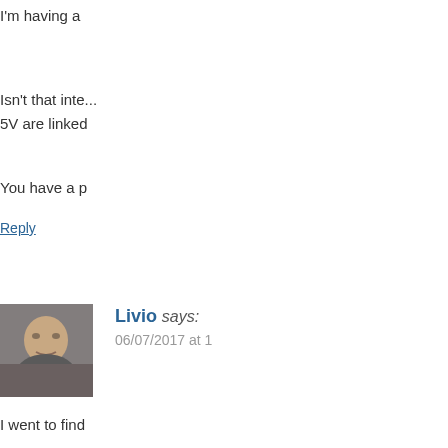I'm having a
Isn't that inte... 5V are linked
You have a p
Reply
Livio says: 06/07/2017 at 1
I went to find http://www.sa... M5045%20In
One might sa... isolated from
It's not that y